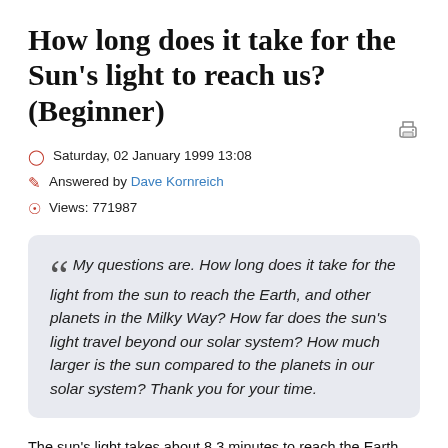How long does it take for the Sun's light to reach us? (Beginner)
Saturday, 02 January 1999 13:08
Answered by Dave Kornreich
Views: 771987
My questions are. How long does it take for the light from the sun to reach the Earth, and other planets in the Milky Way? How far does the sun's light travel beyond our solar system? How much larger is the sun compared to the planets in our solar system? Thank you for your time.
The sun's light takes about 8.3 minutes to reach the Earth after it has been emitted from the sun's surface. The time it takes for light to reach